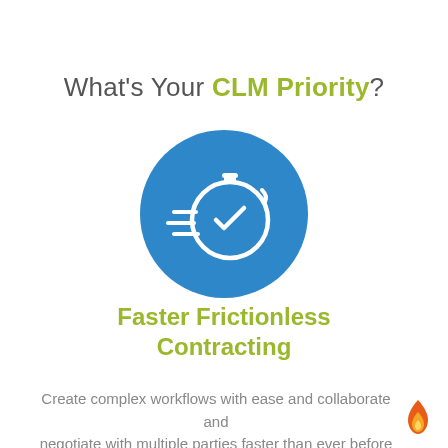What's Your CLM Priority?
[Figure (illustration): Blue circle with a white stopwatch/clock icon with speed lines, representing fast contracting]
Faster Frictionless Contracting
Create complex workflows with ease and collaborate and negotiate with multiple parties faster than ever before